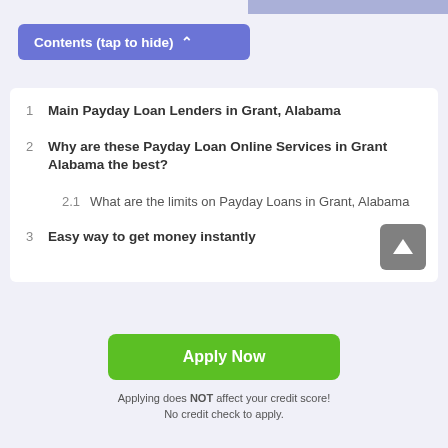Contents (tap to hide) ^
1  Main Payday Loan Lenders in Grant, Alabama
2  Why are these Payday Loan Online Services in Grant Alabama the best?
2.1  What are the limits on Payday Loans in Grant, Alabama
3  Easy way to get money instantly
Apply Now
Applying does NOT affect your credit score!
No credit check to apply.